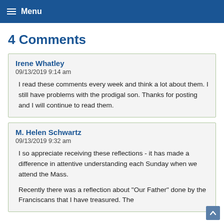Menu
4 Comments
Irene Whatley
09/13/2019 9:14 am
I read these comments every week and think a lot about them. I still have problems with the prodigal son. Thanks for posting and I will continue to read them.
M. Helen Schwartz
09/13/2019 9:32 am
I so appreciate receiving these reflections - it has made a difference in attentive understanding each Sunday when we attend the Mass.

Recently there was a reflection about "Our Father" done by the Franciscans that I have treasured. The